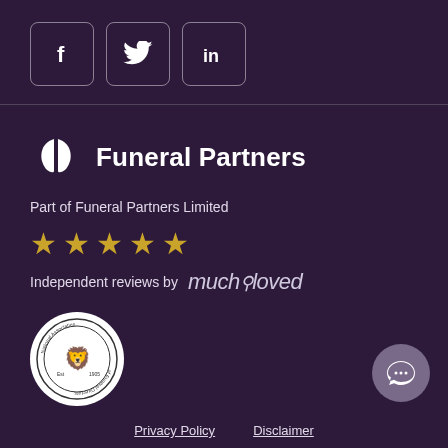[Figure (logo): Social media icons: Facebook (f), Twitter (bird), LinkedIn (in) in rounded square borders on dark purple background]
[Figure (logo): Funeral Partners logo with white leaf/shield icon and bold text 'Funeral Partners']
Part of Funeral Partners Limited
[Figure (infographic): Five gold stars rating]
Independent reviews by muchloved
[Figure (logo): National Association of Funeral Directors circular badge/seal]
[Figure (other): Chat button - circular grey button with speech bubble icon]
Privacy Policy    Disclaimer